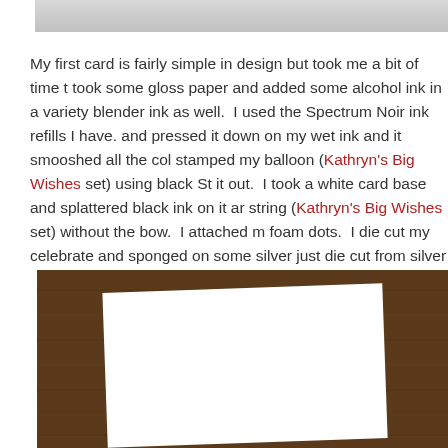[Figure (photo): Partial view of a card or paper on a surface, cropped at top of page]
My first card is fairly simple in design but took me a bit of time t took some gloss paper and added some alcohol ink in a variety blender ink as well.  I used the Spectrum Noir ink refills I have. and pressed it down on my wet ink and it smooshed all the col stamped my balloon (Kathryn's Big Wishes set) using black St it out.  I took a white card base and splattered black ink on it a string (Kathryn's Big Wishes set) without the bow.  I attached m foam dots.  I die cut my celebrate and sponged on some silver just die cut from silver paper but I didn't gave any so thins work attached it to my card.  I really love how the balloon turned out.
[Figure (photo): Photo of a white card on a dark brown wooden surface]